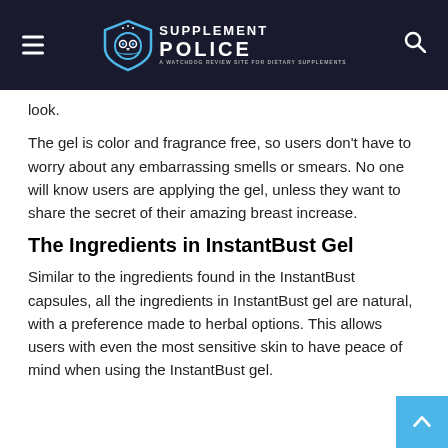Supplement Police
look.
The gel is color and fragrance free, so users don't have to worry about any embarrassing smells or smears. No one will know users are applying the gel, unless they want to share the secret of their amazing breast increase.
The Ingredients in InstantBust Gel
Similar to the ingredients found in the InstantBust capsules, all the ingredients in InstantBust gel are natural, with a preference made to herbal options. This allows users with even the most sensitive skin to have peace of mind when using the InstantBust gel.